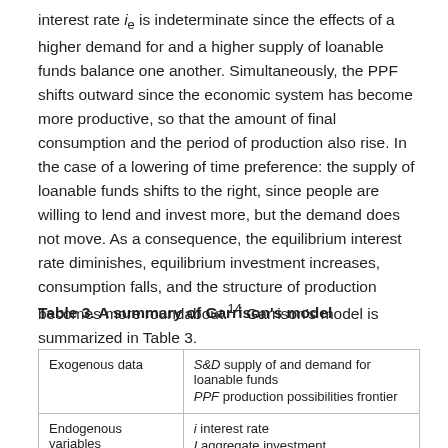interest rate ie is indeterminate since the effects of a higher demand for and a higher supply of loanable funds balance one another. Simultaneously, the PPF shifts outward since the economic system has become more productive, so that the amount of final consumption and the period of production also rise. In the case of a lowering of time preference: the supply of loanable funds shifts to the right, since people are willing to lend and invest more, but the demand does not move. As a consequence, the equilibrium interest rate diminishes, equilibrium investment increases, consumption falls, and the structure of production becomes more roundabout.14 Garrison's model is summarized in Table 3.
Table 3. A summary of Garrison's model
|  |  |
| --- | --- |
| Exogenous data | S&D supply of and demand for loanable funds
PPF production possibilities frontier |
| Endogenous variables | i interest rate
I aggregate investment
C aggregate consumption |